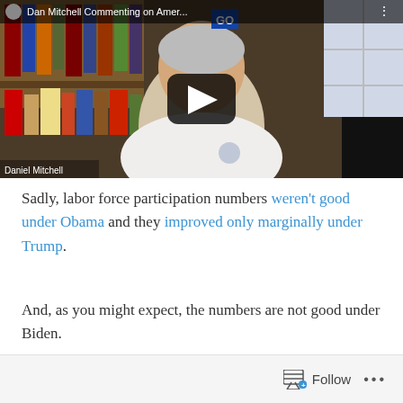[Figure (screenshot): Video thumbnail showing Daniel Mitchell being interviewed or commenting, seated in front of a bookshelf. Title bar reads 'Dan Mitchell Commenting on Amer...' with a play button overlay. Caption label at bottom left reads 'Daniel Mitchell'.]
Sadly, labor force participation numbers weren't good under Obama and they improved only marginally under Trump.
And, as you might expect, the numbers are not good under Biden.
Follow ...